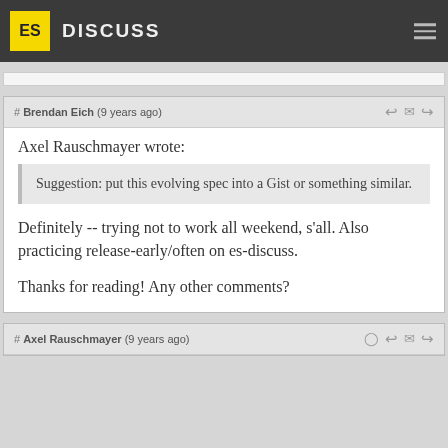ES DISCUSS
# Brendan Eich (9 years ago)
Axel Rauschmayer wrote:
Suggestion: put this evolving spec into a Gist or something similar.
Definitely -- trying not to work all weekend, s'all. Also practicing release-early/often on es-discuss.

Thanks for reading! Any other comments?
# Axel Rauschmayer (9 years ago)